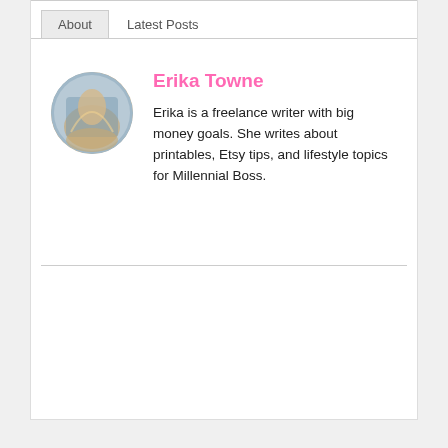About | Latest Posts
Erika Towne
Erika is a freelance writer with big money goals. She writes about printables, Etsy tips, and lifestyle topics for Millennial Boss.